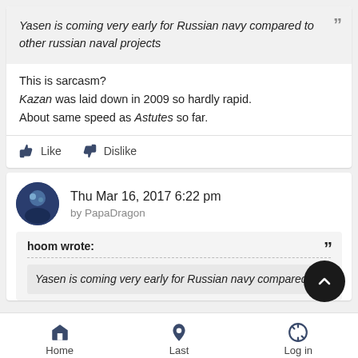Yasen is coming very early for Russian navy compared to other russian naval projects
This is sarcasm?
Kazan was laid down in 2009 so hardly rapid.
About same speed as Astutes so far.
Like  Dislike
Thu Mar 16, 2017 6:22 pm
by PapaDragon
hoom wrote:
Yasen is coming very early for Russian navy compared